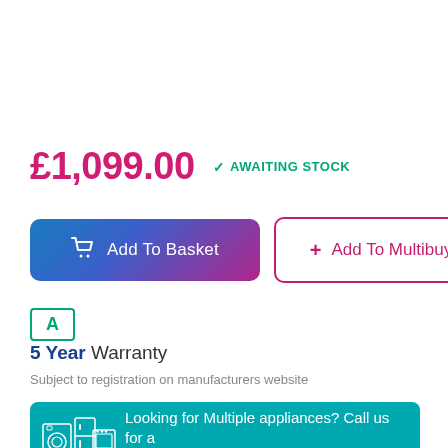£1,099.00  ✓ AWAITING STOCK
Add To Basket
+ Add To Multibuy
A
5 Year Warranty
Subject to registration on manufacturers website
Looking for Multiple appliances? Call us for a package deal!